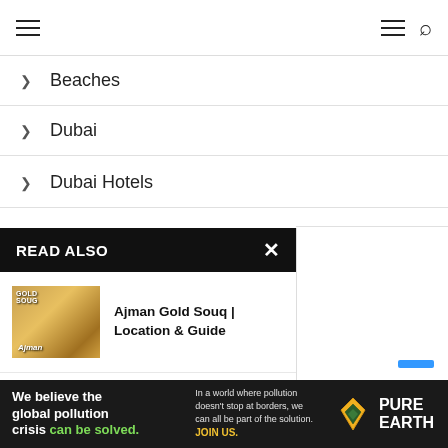Navigation header with hamburger menu and search icon
> Beaches
> Dubai
> Dubai Hotels
READ ALSO
Ajman Gold Souq | Location & Guide
A Brief Look at Every Area to...
Al Safa 1 |
[Figure (screenshot): Advertisement banner: We believe the global pollution crisis can be solved. In a world where pollution doesn't stop at borders, we can all be part of the solution. JOIN US. PURE EARTH logo.]